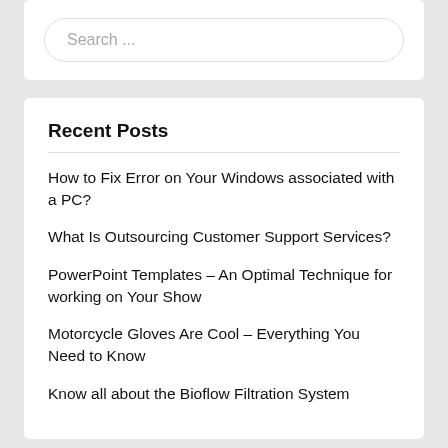Search ...
Recent Posts
How to Fix Error on Your Windows associated with a PC?
What Is Outsourcing Customer Support Services?
PowerPoint Templates – An Optimal Technique for working on Your Show
Motorcycle Gloves Are Cool – Everything You Need to Know
Know all about the Bioflow Filtration System